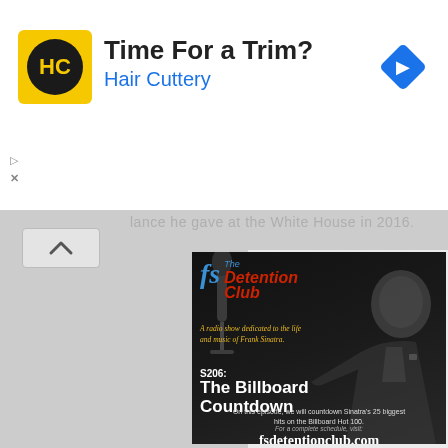[Figure (screenshot): Advertisement banner for Hair Cuttery with yellow/black logo, headline 'Time For a Trim?', subheadline 'Hair Cuttery', and a blue navigation arrow icon on the right]
Time For a Trim?
Hair Cuttery
[Figure (screenshot): Podcast promotional image for 'The Detention Club' - a radio show dedicated to the life and music of Frank Sinatra. Shows episode S206: The Billboard Countdown. Features a black and white photo of Frank Sinatra, logo text in red and blue, yellow tagline text, episode description about counting down Sinatra's 25 biggest hits on the Billboard Hot 100, and website fsdetentionclub.com]
S206:
The Billboard Countdown
On this episode, we will countdown Sinatra's 25 biggest hits on the Billboard Hot 100.
For a complete schedule, visit:
fsdetentionclub.com